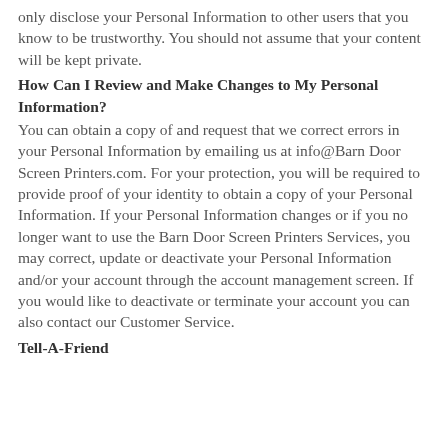only disclose your Personal Information to other users that you know to be trustworthy. You should not assume that your content will be kept private.
How Can I Review and Make Changes to My Personal Information?
You can obtain a copy of and request that we correct errors in your Personal Information by emailing us at info@Barn Door Screen Printers.com. For your protection, you will be required to provide proof of your identity to obtain a copy of your Personal Information. If your Personal Information changes or if you no longer want to use the Barn Door Screen Printers Services, you may correct, update or deactivate your Personal Information and/or your account through the account management screen. If you would like to deactivate or terminate your account you can also contact our Customer Service.
Tell-A-Friend